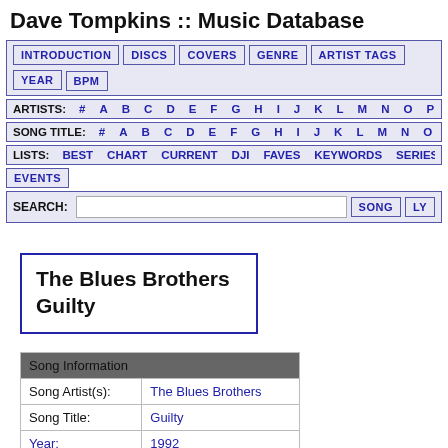Dave Tompkins :: Music Database
INTRODUCTION | DISCS | COVERS | GENRE | ARTIST TAGS | YEAR | BPM
ARTISTS: # A B C D E F G H I J K L M N O P Q R S T ...
SONG TITLE: # A B C D E F G H I J K L M N O P Q R S ...
LISTS: BEST CHART CURRENT DJI FAVES KEYWORDS SERIES
EVENTS
SEARCH: [input] SONG | LY...
The Blues Brothers
Guilty
| Song Information |
| --- |
| Song Artist(s): | The Blues Brothers |
| Song Title: | Guilty |
| Year: | 1992 |